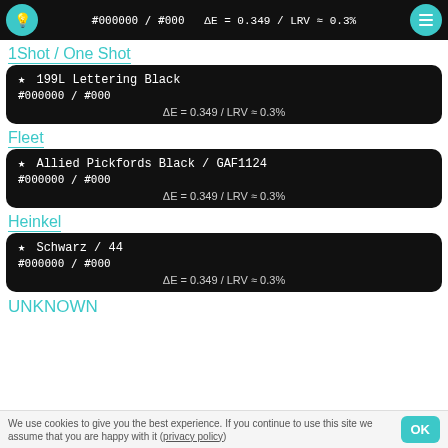#000000 / #000   ΔE = 0.349 / LRV ≈ 0.3%
1Shot / One Shot
★  199L Lettering Black
#000000 / #000
ΔE = 0.349 / LRV ≈ 0.3%
Fleet
★  Allied Pickfords Black / GAF1124
#000000 / #000
ΔE = 0.349 / LRV ≈ 0.3%
Heinkel
★  Schwarz / 44
#000000 / #000
ΔE = 0.349 / LRV ≈ 0.3%
UNKNOWN
We use cookies to give you the best experience. If you continue to use this site we assume that you are happy with it (privacy policy)